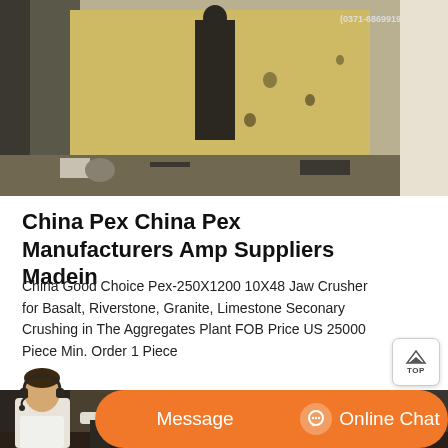[Figure (photo): Outdoor construction or quarry site scene with a person standing near a yellow wall, debris on the ground, phone number visible top right: (0371-68699199)]
China Pex China Pex Manufacturers Amp Suppliers Madein
China Good Choice Pex-250X1200 10X48 Jaw Crusher for Basalt, Riverstone, Granite, Limestone Seconary Crushing in The Aggregates Plant FOB Price US 25000 Piece Min. Order 1 Piece
[Figure (photo): Industrial jaw crusher machinery with large red flywheels visible, heavy equipment in a workshop or outdoor industrial setting]
[Figure (photo): Chat bar with customer service representative, Message button and Online Chat button in orange]